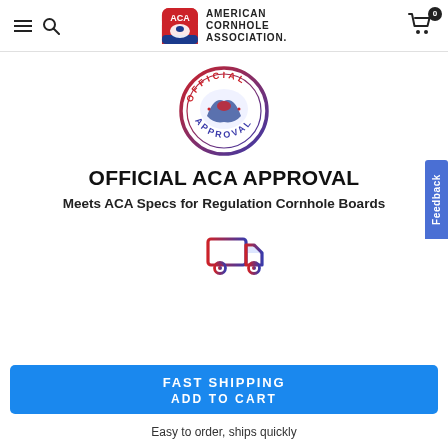American Cornhole Association
[Figure (logo): Official ACA Approval circular seal stamp with cornhole/ACA logo in center, blue-red gradient border, text OFFICIAL on top and APPROVAL on bottom]
OFFICIAL ACA APPROVAL
Meets ACA Specs for Regulation Cornhole Boards
[Figure (illustration): Fast shipping delivery truck icon in red-to-blue gradient with speed lines]
FAST SHIPPING
ADD TO CART
Easy to order, ships quickly